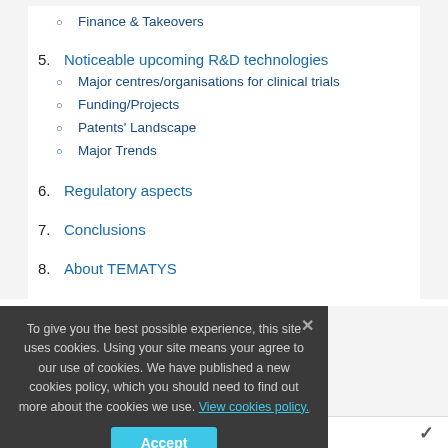Finance & Takeovers
5. Noticeable upcoming R&D technologies
Major centres/organisations for clinical trials
Funding/Projects
Patents' Landscape
Major Trends
6. Regulatory aspects
7. Conclusions
8. About TEMATYS
To give you the best possible experience, this site uses cookies. Using your site means your agree to our use of cookies. We have published a new cookies policy, which you should need to find out more about the cookies we use. View cookies policy.
LEGAL NOTICE